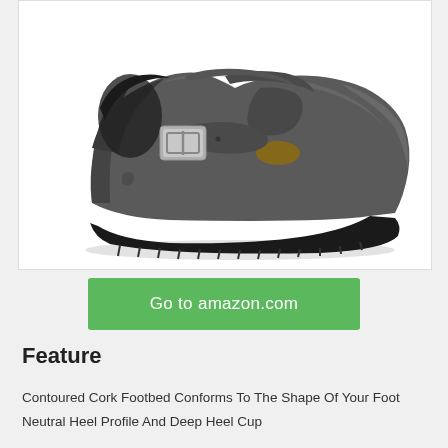[Figure (photo): A dark grey/charcoal leather Birkenstock London shoe with a T-bar strap, silver metal buckle, and black rubber sole, photographed on a white background from a side profile view.]
Go to amazon.com
Feature
Contoured Cork Footbed Conforms To The Shape Of Your Foot
Neutral Heel Profile And Deep Heel Cup